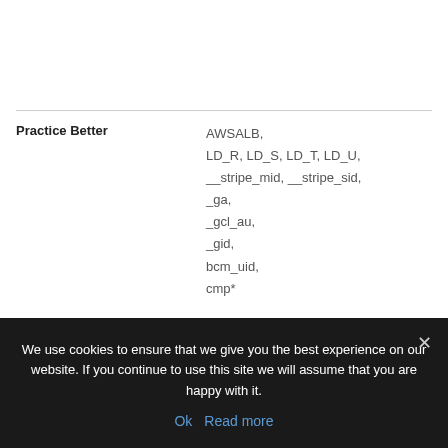|  |  |
| --- | --- |
| Practice Better | AWSALB, LD_R, LD_S, LD_T, LD_U, __stripe_mid, __stripe_sid, _ga, _gcl_au, _gid, bcm_uid, cmp* |
We use cookies to ensure that we give you the best experience on our website. If you continue to use this site we will assume that you are happy with it.
Ok   Read more